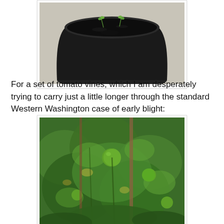[Figure (photo): Top-down view of a black plastic pot filled with dark soil, with two small green seedling sprouts emerging, placed on a light concrete surface.]
For a set of tomato vines, which I am desperately trying to carry just a little longer through the standard Western Washington case of early blight:
[Figure (photo): Close-up photo of tomato vines with green foliage and small green tomatoes, showing signs of early blight disease. Stakes are visible supporting the plants.]